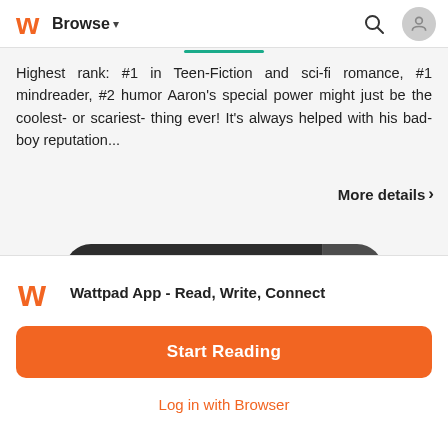Browse
Highest rank: #1 in Teen-Fiction and sci-fi romance, #1 mindreader, #2 humor Aaron's special power might just be the coolest- or scariest- thing ever! It's always helped with his bad-boy reputation...
More details >
[Figure (screenshot): Start reading button with book icon and plus button]
Wattpad App - Read, Write, Connect
Start Reading
Log in with Browser